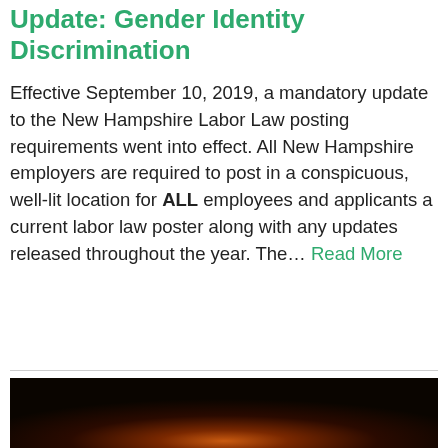Update: Gender Identity Discrimination
Effective September 10, 2019, a mandatory update to the New Hampshire Labor Law posting requirements went into effect. All New Hampshire employers are required to post in a conspicuous, well-lit location for ALL employees and applicants a current labor law poster along with any updates released throughout the year. The… Read More
[Figure (photo): Dark photograph with warm orange/amber glow in the center-lower area against a very dark brown/black background, resembling a sunset or flame light source.]